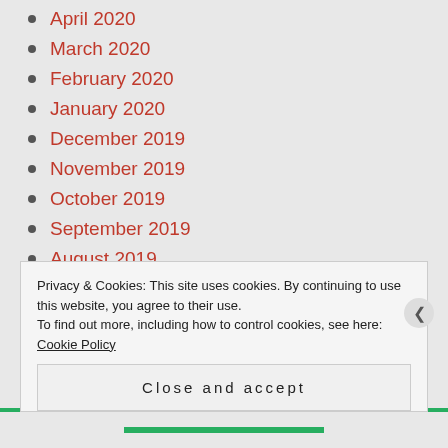April 2020
March 2020
February 2020
January 2020
December 2019
November 2019
October 2019
September 2019
August 2019
July 2019
June 2019
May 2019
Privacy & Cookies: This site uses cookies. By continuing to use this website, you agree to their use. To find out more, including how to control cookies, see here: Cookie Policy
Close and accept